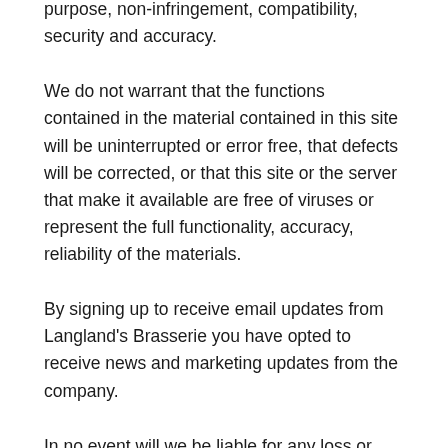purpose, non-infringement, compatibility, security and accuracy.
We do not warrant that the functions contained in the material contained in this site will be uninterrupted or error free, that defects will be corrected, or that this site or the server that make it available are free of viruses or represent the full functionality, accuracy, reliability of the materials.
By signing up to receive email updates from Langland's Brasserie you have opted to receive news and marketing updates from the company.
In no event will we be liable for any loss or damage including, without limitation, indirect or consequential loss or damage, or any loss or damage whatsoever arising from use or loss of use of, data, or profits, arising out of or in connection with the use of